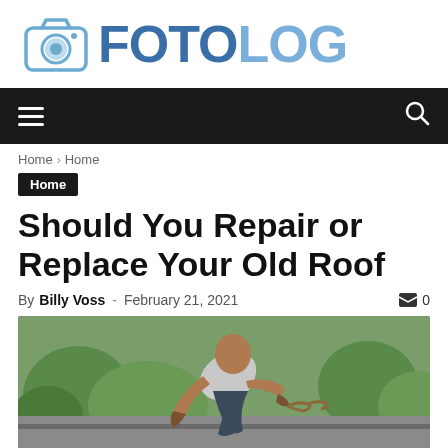[Figure (logo): FOTOLOG logo with camera icon — camera outline in light blue, text FOTO in dark blue and LOG in lighter blue]
[Figure (screenshot): Dark navigation bar with hamburger menu icon on left and search icon on right]
Home › Home
Home
Should You Repair or Replace Your Old Roof
By Billy Voss - February 21, 2021  0
[Figure (photo): A person working on a roof, bending down, wearing a gray t-shirt and dark pants, green trees visible in background]